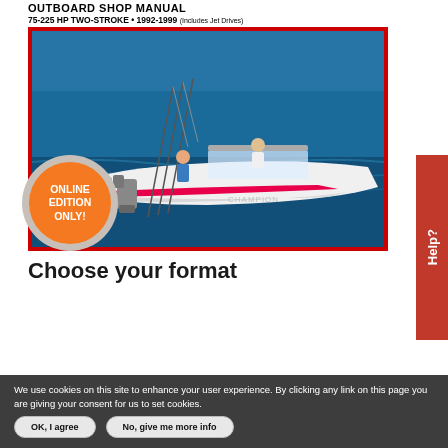[Figure (screenshot): Book cover for Outboard Shop Manual 75-225 HP Two-Stroke 1992-1999 (Includes Jet Drives), showing a boat with two people fishing on open water with outboard motors visible. An orange badge reads ONLINE EDITION ONLY.]
Choose your format
We use cookies on this site to enhance your user experience. By clicking any link on this page you are giving your consent for us to set cookies.
OK, I agree    No, give me more info